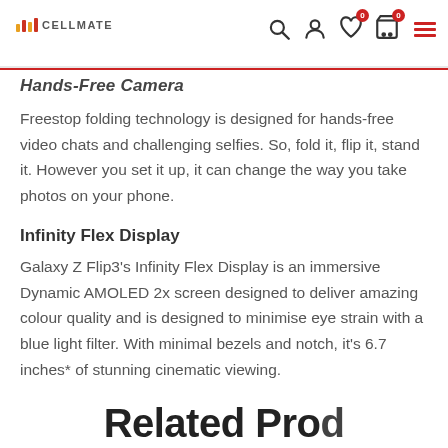CELLMATE
Hands-Free Camera
Freestop folding technology is designed for hands-free video chats and challenging selfies. So, fold it, flip it, stand it. However you set it up, it can change the way you take photos on your phone.
Infinity Flex Display
Galaxy Z Flip3's Infinity Flex Display is an immersive Dynamic AMOLED 2x screen designed to deliver amazing colour quality and is designed to minimise eye strain with a blue light filter. With minimal bezels and notch, it's 6.7 inches* of stunning cinematic viewing.
Related Products